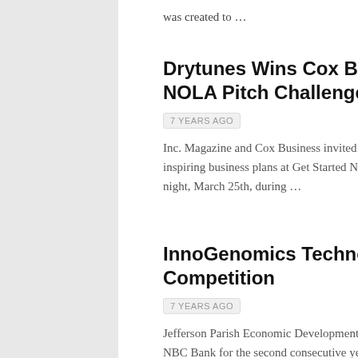was created to …
Drytunes Wins Cox Business and In NOLA Pitch Challenge
7 YEARS AGO
Inc. Magazine and Cox Business invited five Ne inspiring business plans at Get Started NOLA, a night, March 25th, during …
InnoGenomics Technologies Wins A Competition
7 YEARS AGO
Jefferson Parish Economic Development Comm NBC Bank for the second consecutive year to ho competition showcasing the brightest  entrepr
12 Startups Selected to Advance to